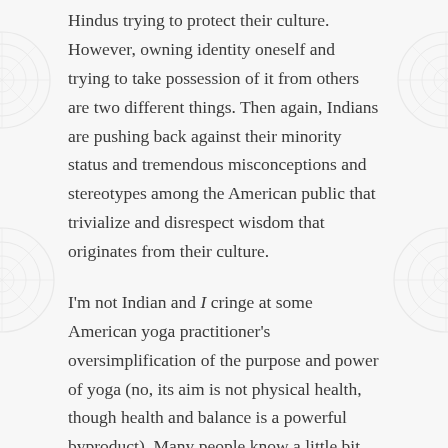Hindus trying to protect their culture. However, owning identity oneself and trying to take possession of it from others are two different things. Then again, Indians are pushing back against their minority status and tremendous misconceptions and stereotypes among the American public that trivialize and disrespect wisdom that originates from their culture.
I'm not Indian and I cringe at some American yoga practitioner's oversimplification of the purpose and power of yoga (no, its aim is not physical health, though health and balance is a powerful byproduct). Many people know a little bit about a very profound practice. Still they make assertions, as if they are masters, and thus we have mass ignorance. So statements like Mr. Vitelli is in the fact ways we have off the…